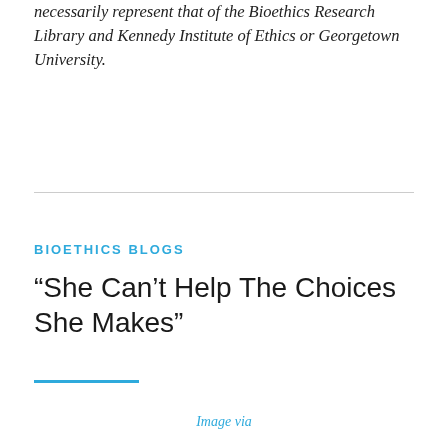necessarily represent that of the Bioethics Research Library and Kennedy Institute of Ethics or Georgetown University.
BIOETHICS BLOGS
“She Can’t Help The Choices She Makes”
Image via